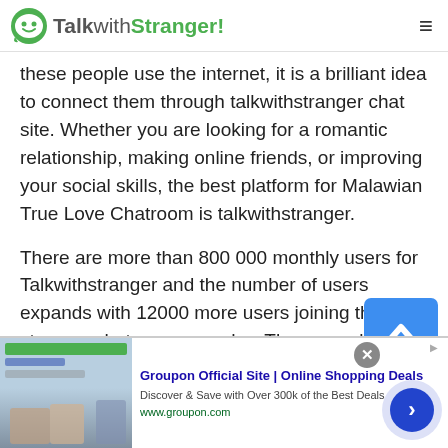TalkwithStranger!
these people use the internet, it is a brilliant idea to connect them through talkwithstranger chat site. Whether you are looking for a romantic relationship, making online friends, or improving your social skills, the best platform for Malawian True Love Chatroom is talkwithstranger.
There are more than 800 000 monthly users for Talkwithstranger and the number of users expands with 12000 more users joining the stranger chat app every day. These numbers are enough to estimate the popularity of the platform. Unlike most ordinary chat
[Figure (screenshot): Groupon advertisement banner: 'Groupon Official Site | Online Shopping Deals — Discover & Save with Over 300k of the Best Deals — www.groupon.com' with thumbnail image and navigation arrow button]